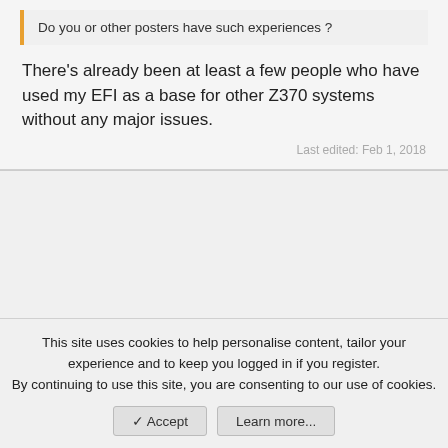Do you or other posters have such experiences ?
There's already been at least a few people who have used my EFI as a base for other Z370 systems without any major issues.
Last edited: Feb 1, 2018
This site uses cookies to help personalise content, tailor your experience and to keep you logged in if you register.
By continuing to use this site, you are consenting to our use of cookies.